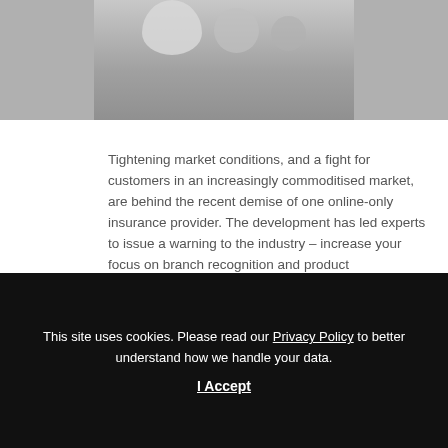[Figure (photo): Partial image at top of page showing blurred/greyscale shapes on a light grey background]
Tightening market conditions, and a fight for customers in an increasingly commoditised market, are behind the recent demise of one online-only insurance provider. The development has led experts to issue a warning to the industry – increase your focus on branch recognition and product differentiation or risk losing market share to larger, multi-disciplinary players.
Earlier this month Buzz Insurance, an IAG subsidiary, announced it will cease selling new policies and roll...
In a statement, Buzz Insurance spokesperson Adele Bugagiar, says the company faced difficulty gaining
This site uses cookies. Please read our Privacy Policy to better understand how we handle your data.
I Accept